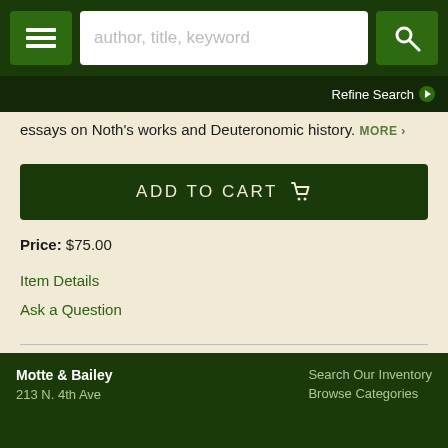author, title, keyword | Refine Search
essays on Noth's works and Deuteronomic history. MORE ›
ADD TO CART
Price: $75.00
Item Details
Ask a Question
Page 2 of 4
Motte & Bailey
213 N. 4th Ave
Search Our Inventory
Browse Categories